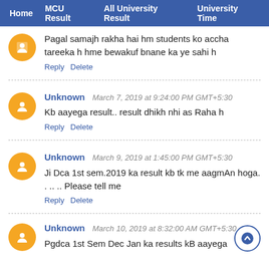Home   MCU Result   All University Result   University Time
Pagal samajh rakha hai hm students ko accha tareeka h hme bewakuf bnane ka ye sahi h
Reply   Delete
Unknown   March 7, 2019 at 9:24:00 PM GMT+5:30
Kb aayega result.. result dhikh nhi as Raha h
Reply   Delete
Unknown   March 9, 2019 at 1:45:00 PM GMT+5:30
Ji Dca 1st sem.2019 ka result kb tk me aagmAn hoga. . .. .. Please tell me
Reply   Delete
Unknown   March 10, 2019 at 8:32:00 AM GMT+5:30
Pgdca 1st Sem Dec Jan ka results kB aayega